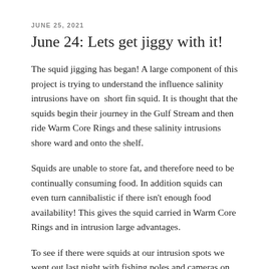JUNE 25, 2021
June 24: Lets get jiggy with it!
The squid jigging has began! A large component of this project is trying to understand the influence salinity intrusions have on short fin squid. It is thought that the squids begin their journey in the Gulf Stream and then ride Warm Core Rings and these salinity intrusions shore ward and onto the shelf.
Squids are unable to store fat, and therefore need to be continually consuming food. In addition squids can even turn cannibalistic if there isn't enough food availability! This gives the squid carried in Warm Core Rings and in intrusion large advantages.
To see if there were squids at our intrusion spots we went out last night with fishing poles and cameras on